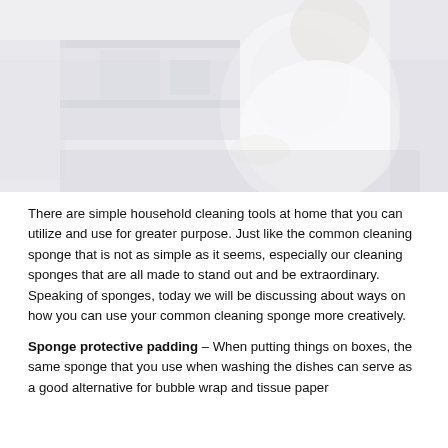[Figure (photo): A person in a white lab coat or white clothing, partially visible, appearing to work at a desk or counter. The image is faded/washed out with light tones. Background shows some dark shelving or equipment.]
There are simple household cleaning tools at home that you can utilize and use for greater purpose. Just like the common cleaning sponge that is not as simple as it seems, especially our cleaning sponges that are all made to stand out and be extraordinary. Speaking of sponges, today we will be discussing about ways on how you can use your common cleaning sponge more creatively.
Sponge protective padding – When putting things on boxes, the same sponge that you use when washing the dishes can serve as a good alternative for bubble wrap and tissue paper